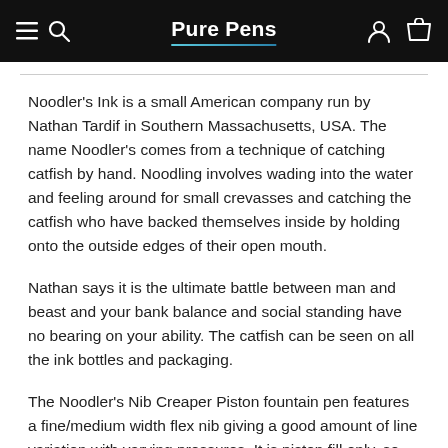Pure Pens
Noodler's Ink is a small American company run by Nathan Tardif in Southern Massachusetts, USA. The name Noodler's comes from a technique of catching catfish by hand. Noodling involves wading into the water and feeling around for small crevasses and catching the catfish who have backed themselves inside by holding onto the outside edges of their open mouth.
Nathan says it is the ultimate battle between man and beast and your bank balance and social standing have no bearing on your ability. The catfish can be seen on all the ink bottles and packaging.
The Noodler's Nib Creaper Piston fountain pen features a fine/medium width flex nib giving a good amount of line variation with varying pressures. It is piston fill only, so filled from bottled ink. A